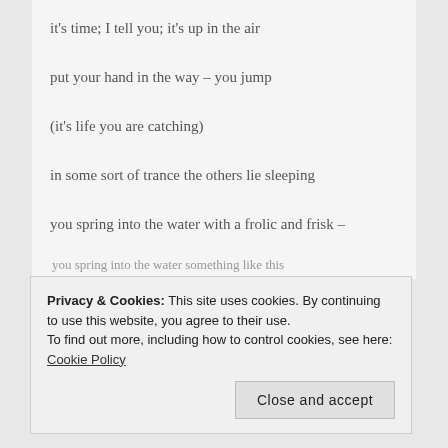it's time; I tell you; it's up in the air
put your hand in the way – you jump
(it's life you are catching)
in some sort of trance the others lie sleeping
you spring into the water with a frolic and frisk –
you spring into the water somethinglike this
Privacy & Cookies: This site uses cookies. By continuing to use this website, you agree to their use.
To find out more, including how to control cookies, see here: Cookie Policy
Close and accept